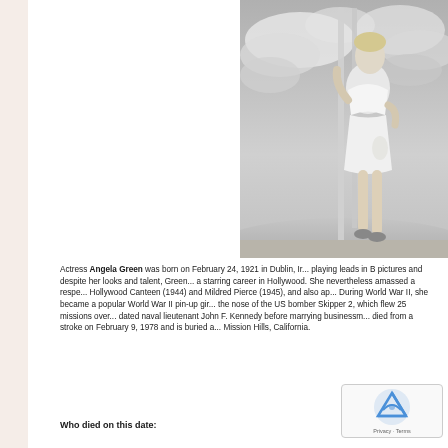[Figure (photo): Black and white pin-up style photo of actress Angela Green in a white two-piece outfit, posing next to vertical poles against a cloudy sky background]
Actress Angela Green was born on February 24, 1921 in Dublin, Ir... playing leads in B pictures and despite her looks and talent, Green... a starring career in Hollywood. She nevertheless amassed a respe... Hollywood Canteen (1944) and Mildred Pierce (1945), and also ap... During World War II, she became a popular World War II pin-up gir... the nose of the US bomber Skipper 2, which flew 25 missions over... dated naval lieutenant John F. Kennedy before marrying businessm... died from a stroke on February 9, 1978 and is buried a... Mission Hills, California.
Who died on this date: